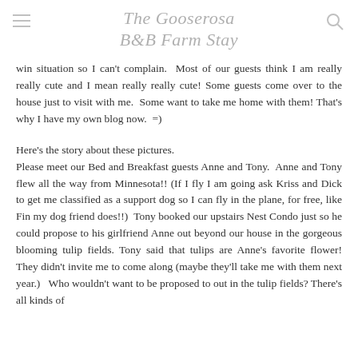The Gooserosa B&B Farm Stay
win situation so I can't complain.  Most of our guests think I am really really cute and I mean really really cute! Some guests come over to the house just to visit with me.  Some want to take me home with them! That's why I have my own blog now.  =)
Here's the story about these pictures.
Please meet our Bed and Breakfast guests Anne and Tony.  Anne and Tony flew all the way from Minnesota!! (If I fly I am going ask Kriss and Dick to get me classified as a support dog so I can fly in the plane, for free, like Fin my dog friend does!!)  Tony booked our upstairs Nest Condo just so he could propose to his girlfriend Anne out beyond our house in the gorgeous blooming tulip fields. Tony said that tulips are Anne's favorite flower! They didn't invite me to come along (maybe they'll take me with them next year.)   Who wouldn't want to be proposed to out in the tulip fields? There's all kinds of